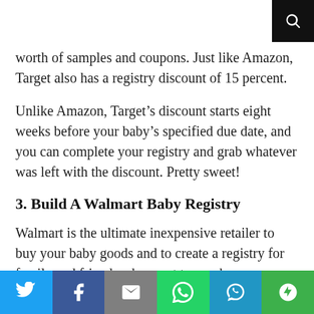worth of samples and coupons. Just like Amazon, Target also has a registry discount of 15 percent.
Unlike Amazon, Target’s discount starts eight weeks before your baby’s specified due date, and you can complete your registry and grab whatever was left with the discount. Pretty sweet!
3. Build A Walmart Baby Registry
Walmart is the ultimate inexpensive retailer to buy your baby goods and to create a registry for family and friends who want to purchase something for the new baby. When you create a Walmart baby registry, you receive a welcome box with samples and products for both you and
Social share bar: Twitter, Facebook, Email, WhatsApp, SMS, More